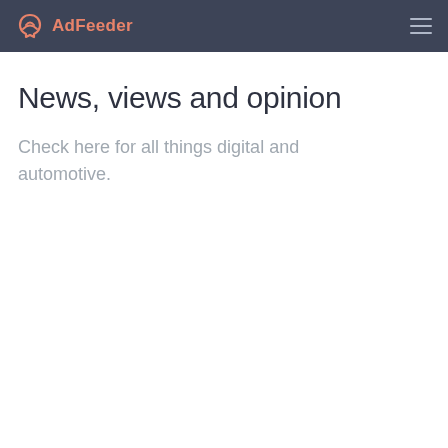AdFeeder
News, views and opinion
Check here for all things digital and automotive.